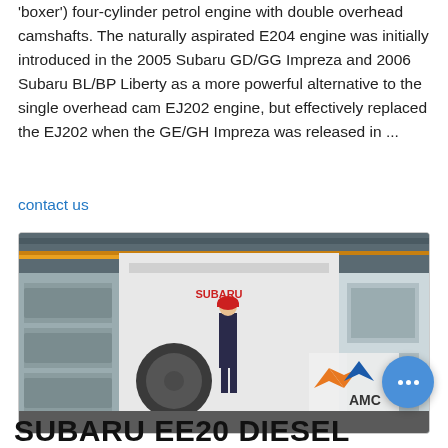'boxer') four-cylinder petrol engine with double overhead camshafts. The naturally aspirated E204 engine was initially introduced in the 2005 Subaru GD/GG Impreza and 2006 Subaru BL/BP Liberty as a more powerful alternative to the single overhead cam EJ202 engine, but effectively replaced the EJ202 when the GE/GH Impreza was released in ...
contact us
[Figure (photo): Factory/industrial setting showing a worker in a red hard hat standing next to large industrial machinery. The AMC logo is visible on the right side of the image.]
SUBARU EE20 DIESEL